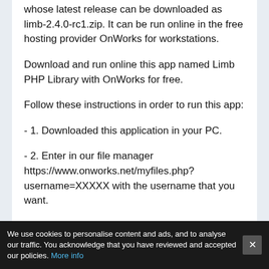whose latest release can be downloaded as limb-2.4.0-rc1.zip. It can be run online in the free hosting provider OnWorks for workstations.
Download and run online this app named Limb PHP Library with OnWorks for free.
Follow these instructions in order to run this app:
- 1. Downloaded this application in your PC.
- 2. Enter in our file manager https://www.onworks.net/myfiles.php?username=XXXXX with the username that you want.
- 3. Upload this application in such filemanager.
We use cookies to personalise content and ads, and to analyse our traffic. You acknowledge that you have reviewed and accepted our policies. More info